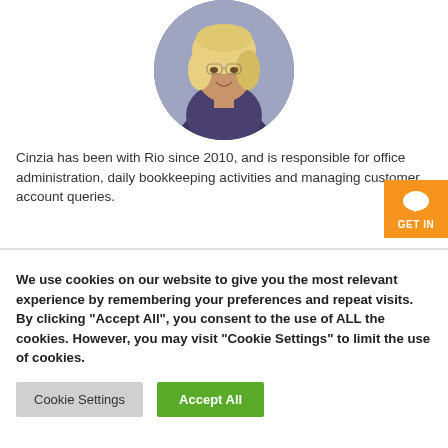[Figure (photo): Circular profile photo of a woman with blonde hair smiling, wearing a patterned top]
Cinzia has been with Rio since 2010, and is responsible for office administration, daily bookkeeping activities and managing customer account queries.
We use cookies on our website to give you the most relevant experience by remembering your preferences and repeat visits. By clicking "Accept All", you consent to the use of ALL the cookies. However, you may visit "Cookie Settings" to limit the use of cookies.
Cookie Settings
Accept All